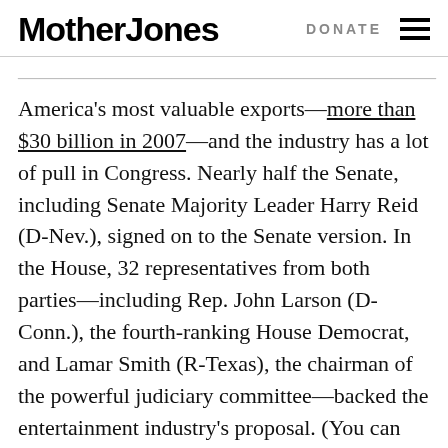Mother Jones | DONATE
America's most valuable exports—more than $30 billion in 2007—and the industry has a lot of pull in Congress. Nearly half the Senate, including Senate Majority Leader Harry Reid (D-Nev.), signed on to the Senate version. In the House, 32 representatives from both parties—including Rep. John Larson (D-Conn.), the fourth-ranking House Democrat, and Lamar Smith (R-Texas), the chairman of the powerful judiciary committee—backed the entertainment industry's proposal. (You can see supporters and opponents of the bills over at ProPublica's website.) Maplight.org found that since the beginning of the 2010 election cycle, SOPA's 32 sponsors took in nearly four times as much in